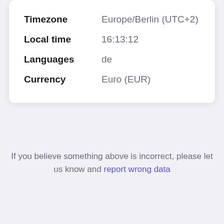| Timezone | Europe/Berlin (UTC+2) |
| Local time | 16:13:12 |
| Languages | de |
| Currency | Euro (EUR) |
If you believe something above is incorrect, please let us know and report wrong data